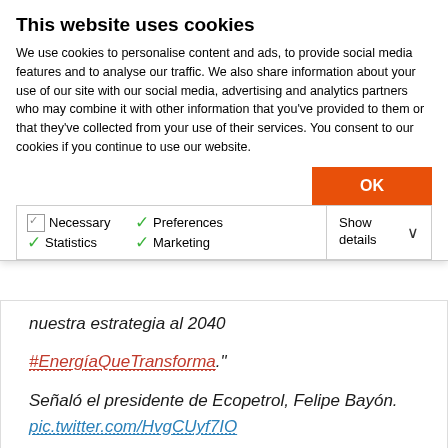This website uses cookies
We use cookies to personalise content and ads, to provide social media features and to analyse our traffic. We also share information about your use of our site with our social media, advertising and analytics partners who may combine it with other information that you've provided to them or that they've collected from your use of their services. You consent to our cookies if you continue to use our website.
OK
Necessary  Preferences  Statistics  Marketing  Show details
nuestra estrategia al 2040 #EnergíaQueTransforma." Señaló el presidente de Ecopetrol, Felipe Bayón. pic.twitter.com/HvgCUyf7IO
— Ecopetrol (@ECOPETROL_SA) May 18, 2022